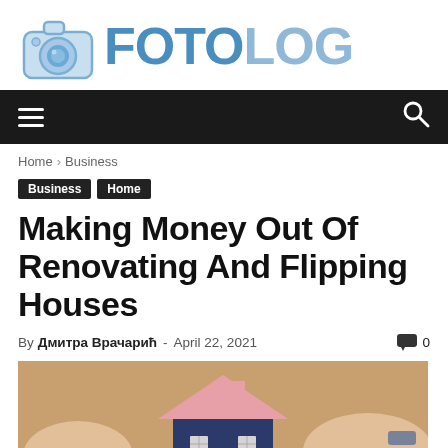[Figure (logo): FOTOLOG logo with camera icon — dark and light blue text]
Navigation bar with hamburger menu and search icon
Home › Business
Business
Home
Making Money Out Of Renovating And Flipping Houses
By Дмитра Врачарић - April 22, 2021  💬 0
[Figure (photo): Hands holding a miniature house model with pink roof and dark blue walls, on a wooden surface]